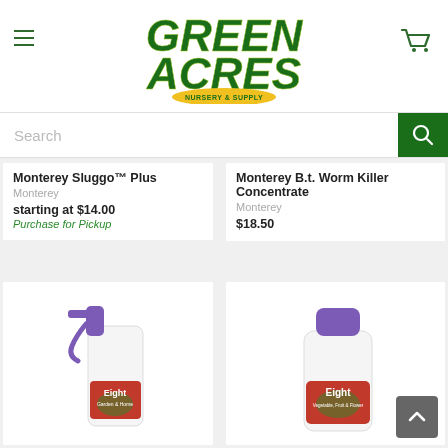[Figure (logo): Green Acres Nursery & Supply logo in green italic bold text with yellow oval Nursery & Supply badge]
[Figure (screenshot): Search bar with magnifying glass icon on green background]
Monterey Sluggo™ Plus
Monterey
starting at $14.00
Purchase for Pickup
Monterey B.t. Worm Killer Concentrate
Monterey
$18.50
[Figure (photo): Eight brand spray bottle insecticide for Garden & Home]
[Figure (photo): Eight brand concentrate bottle for Vegetable, Fruit & Flower]